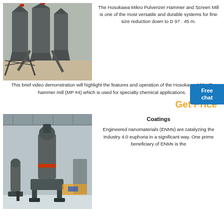[Figure (photo): Industrial hammer mill / pulverizer equipment outdoors with large silos and ductwork]
The Hosokawa Mikro Pulverizer Hammer and Screen Mill is one of the most versatile and durable systems for fine size reduction down to D 97 . 45 m. This brief video demonstration will highlight the features and operation of the Hosokawa 100 HP hammer mill (MP #4) which is used for specialty chemical applications.
Get Price
[Figure (photo): Large industrial grinding mill inside a factory warehouse hall]
Coatings
Engineered nanomaterials (ENMs) are catalyzing the Industry 4.0 euphoria in a significant way. One prime beneficiary of ENMs is the